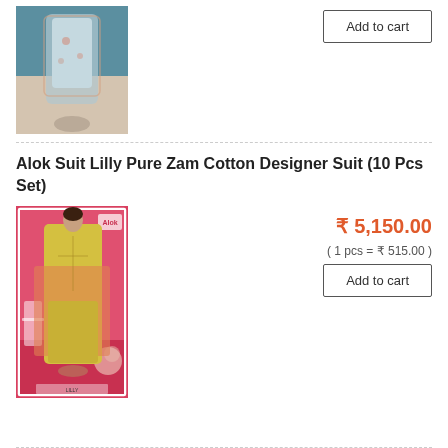[Figure (photo): Partial view of a woman wearing a light blue floral designer suit (top of product listing, cropped)]
Add to cart
Alok Suit Lilly Pure Zam Cotton Designer Suit (10 Pcs Set)
[Figure (photo): Woman in yellow/mustard suit with pink/orange dupatta on pink background - Alok Suit Lilly product image]
₹ 5,150.00
( 1 pcs = ₹ 515.00 )
Add to cart